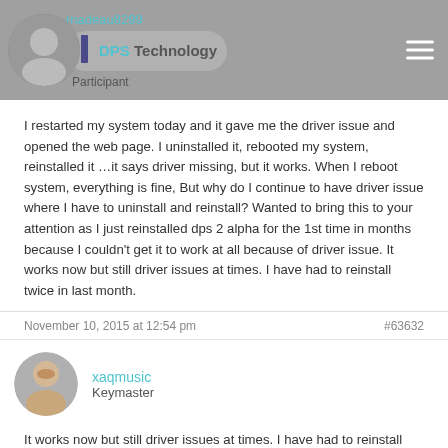rnadeau8299 | DPS Technology | Participant
I restarted my system today and it gave me the driver issue and opened the web page. I uninstalled it, rebooted my system, reinstalled it …it says driver missing, but it works. When I reboot system, everything is fine, But why do I continue to have driver issue where I have to uninstall and reinstall? Wanted to bring this to your attention as I just reinstalled dps 2 alpha for the 1st time in months because I couldn't get it to work at all because of driver issue. It works now but still driver issues at times. I have had to reinstall twice in last month.
November 10, 2015 at 12:54 pm   #63632
xaqmusic
Keymaster
It works now but still driver issues at times. I have had to reinstall twice in last month.
That's really odd.   Do you have any other specialty audio drivers installed?